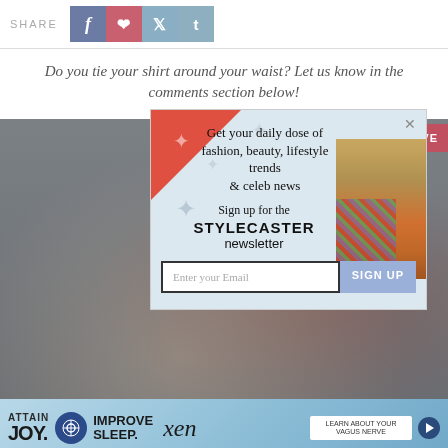SHARE
Do you tie your shirt around your waist? Let us know in the comments section below!
[Figure (screenshot): Background photo of person wearing jeans with a plaid shirt tied around their waist, blurred/greyed out behind a popup overlay]
[Figure (infographic): Newsletter signup popup overlay: 'Get your daily dose of fashion, beauty, lifestyle trends & celeb news. Sign up for the STYLECASTER newsletter' with email input field and SIGN UP button]
[Figure (infographic): Bottom advertisement banner: ATTAIN JOY. IMPROVE SLEEP. xen - LEARN ABOUT YOUR VAGUS NERVE]